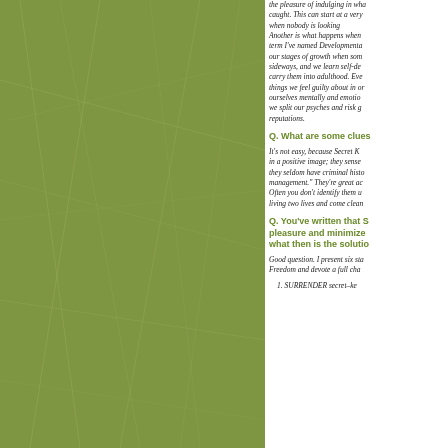[Figure (photo): Green textured background with scratched surface, olive/sage green color, occupying the left column of the page]
the pleasure of indulging in wha caught. This can start at a very when nobody is looking Another is what happens when term I've named Developmenta our stages of growth when som sideways, and we learn self-de carry them into adulthood. Eve things we feel guilty about in or ourselves mentally and emotio we split our psyches and risk g reputations.
Q. What are some clues
It's not easy, because Secret K in a positive image; they sense they seldom have criminal histo management." They're great ac Often you don't identify them u living two lives and come clean
Q. You've written that S pleasure and minimize what then is the solutio
Good question. I present six sta Freedom and devote a full cha
1. SURRENDER secret–ke